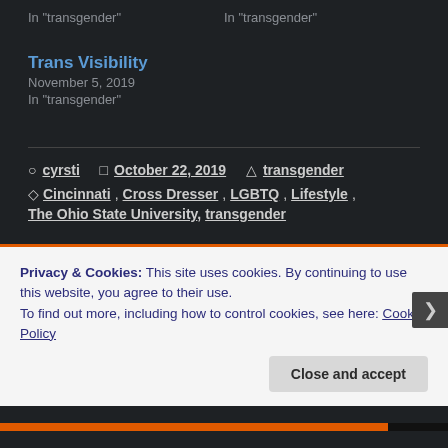In "transgender"
In "transgender"
Trans Visibility
November 5, 2019
In "transgender"
cyrsti   October 22, 2019   transgender
Cincinnati, Cross Dresser, LGBTQ, Lifestyle,
The Ohio State University, transgender
Privacy & Cookies: This site uses cookies. By continuing to use this website, you agree to their use.
To find out more, including how to control cookies, see here: Cookie Policy
Close and accept